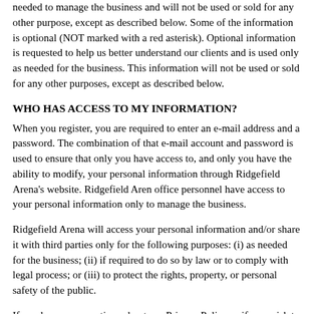needed to manage the business and will not be used or sold for any other purpose, except as described below. Some of the information is optional (NOT marked with a red asterisk). Optional information is requested to help us better understand our clients and is used only as needed for the business. This information will not be used or sold for any other purposes, except as described below.
WHO HAS ACCESS TO MY INFORMATION?
When you register, you are required to enter an e-mail address and a password. The combination of that e-mail account and password is used to ensure that only you have access to, and only you have the ability to modify, your personal information through Ridgefield Arena's website. Ridgefield Aren office personnel have access to your personal information only to manage the business.
Ridgefield Arena will access your personal information and/or share it with third parties only for the following purposes: (i) as needed for the business; (ii) if required to do so by law or to comply with legal process; or (iii) to protect the rights, property, or personal safety of the public.
If you have any questions about our Privacy Policy or if you wish to update or remove any of your personal information, please contact the office.